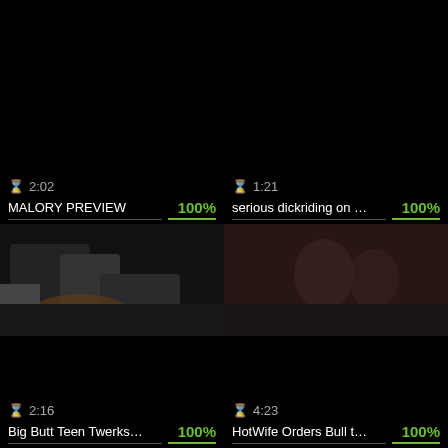[Figure (screenshot): Video listing grid with 4 video thumbnails, titles, durations, and ratings. Top-left: MALORY PREVIEW, 2:02, 100%. Top-right: serious dickriding on ..., 1:21, 100%. Bottom-left: Big Butt Teen Twerks..., 2:16, 100%. Bottom-right: HotWife Orders Bull t..., 4:23, 100%.]